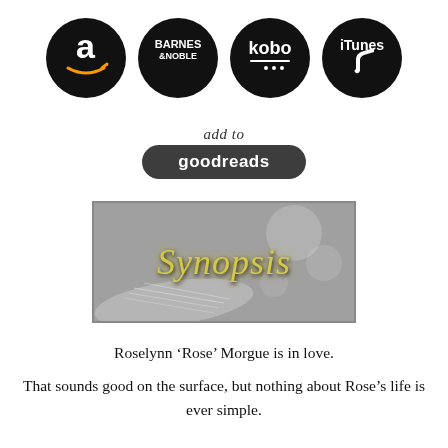[Figure (logo): Four retailer logos in black circles: Amazon (a), Barnes & Noble, kobo, iTunes]
[Figure (logo): Add to Goodreads button with italic 'add to' text above dark rounded rectangle with 'goodreads']
[Figure (illustration): Synopsis banner image: dark gray/silver background with open book, gold cursive 'Synopsis' text]
Roselynn ‘Rose’ Morgue is in love.
That sounds good on the surface, but nothing about Rose’s life is ever simple.